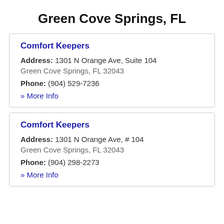Green Cove Springs, FL
Comfort Keepers
Address: 1301 N Orange Ave, Suite 104
Green Cove Springs, FL 32043
Phone: (904) 529-7236
» More Info
Comfort Keepers
Address: 1301 N Orange Ave, # 104
Green Cove Springs, FL 32043
Phone: (904) 298-2273
» More Info